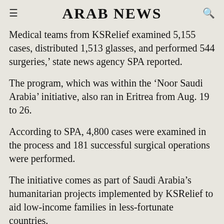ARAB NEWS
Medical teams from KSRelief examined 5,155 cases, distributed 1,513 glasses, and performed 544 surgeries,' state news agency SPA reported.
The program, which was within the ‘Noor Saudi Arabia’ initiative, also ran in Eritrea from Aug. 19 to 26.
According to SPA, 4,800 cases were examined in the process and 181 successful surgical operations were performed.
The initiative comes as part of Saudi Arabia’s humanitarian projects implemented by KSRelief to aid low-income families in less-fortunate countries.